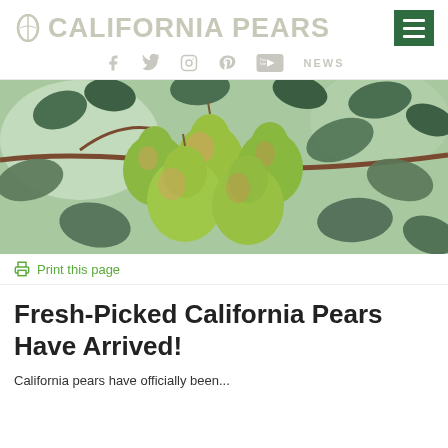CALIFORNIA PEARS
[Figure (photo): Close-up photograph of green and yellow pears with reddish blush hanging on a tree branch with dark green leaves, outdoor natural light background]
Print this page
Fresh-Picked California Pears Have Arrived!
California pears have officially been...